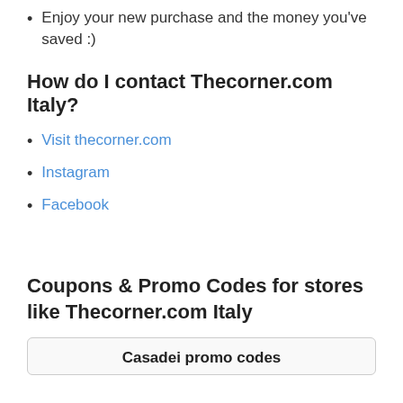Enjoy your new purchase and the money you've saved :)
How do I contact Thecorner.com Italy?
Visit thecorner.com
Instagram
Facebook
Coupons & Promo Codes for stores like Thecorner.com Italy
Casadei promo codes